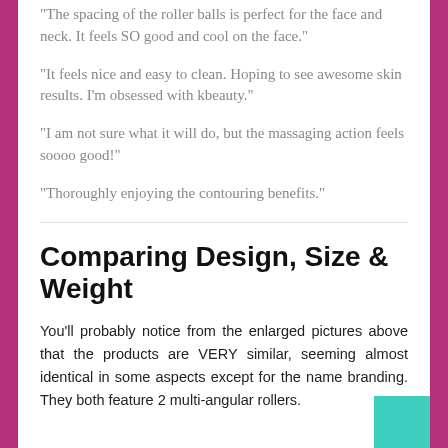“The spacing of the roller balls is perfect for the face and neck. It feels SO good and cool on the face.”
“It feels nice and easy to clean. Hoping to see awesome skin results. I’m obsessed with kbeauty.”
“I am not sure what it will do, but the massaging action feels soooo good!”
“Thoroughly enjoying the contouring benefits.”
Comparing Design, Size & Weight
You’ll probably notice from the enlarged pictures above that the products are VERY similar, seeming almost identical in some aspects except for the name branding. They both feature 2 multi-angular rollers.